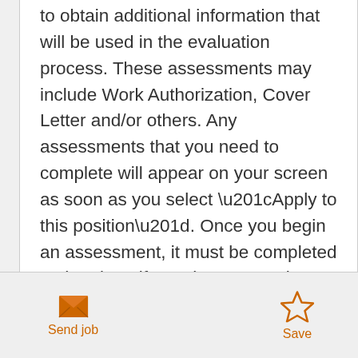to obtain additional information that will be used in the evaluation process. These assessments may include Work Authorization, Cover Letter and/or others. Any assessments that you need to complete will appear on your screen as soon as you select “Apply to this position”. Once you begin an assessment, it must be completed at that time; if you do not complete the assessment you will be prompted to do so the next time you access your “My Jobs” page. If you select to take it later, it will appear on your "My Jobs" page to take when you are ready. Please note that your application will not be
[Figure (other): Send job button with envelope icon (orange) and Save button with star icon (orange) in footer bar]